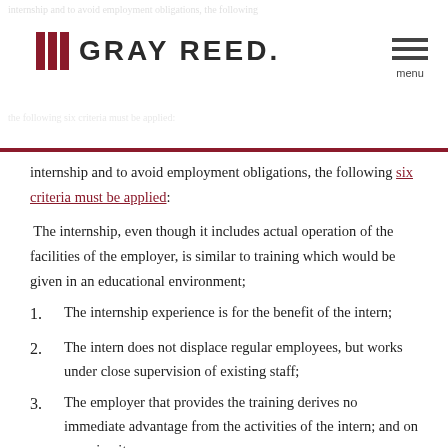Gray Reed law firm logo and menu
internship and to avoid employment obligations, the following six criteria must be applied:
The internship, even though it includes actual operation of the facilities of the employer, is similar to training which would be given in an educational environment;
1. The internship experience is for the benefit of the intern;
2. The intern does not displace regular employees, but works under close supervision of existing staff;
3. The employer that provides the training derives no immediate advantage from the activities of the intern; and on occasion its